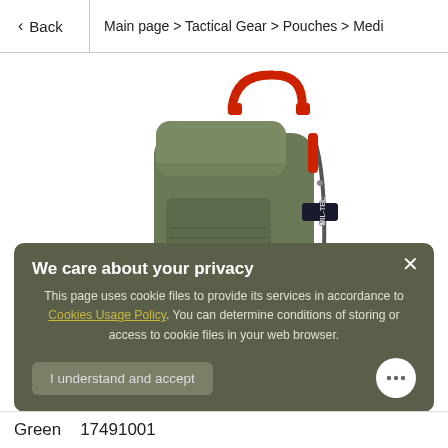Back | Main page > Tactical Gear > Pouches > Medi
[Figure (photo): Green tactical medical pouch/bag with red handle on top, velcro patch panel, zipper closure, and Mil-Tec brand label on the side.]
We care about your privacy
This page uses cookie files to provide its services in accordance to Cookies Usage Policy. You can determine conditions of storing or access to cookie files in your web browser.
I understand and accept
Green  17491001